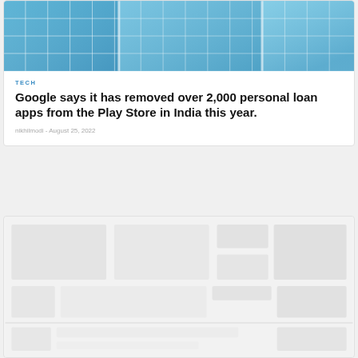[Figure (photo): Photo of a modern glass office building facade with blue tinted windows reflecting the sky]
TECH
Google says it has removed over 2,000 personal loan apps from the Play Store in India this year.
nikhilmodi - August 25, 2022
[Figure (photo): Partially visible blurred image card preview below the first article card]